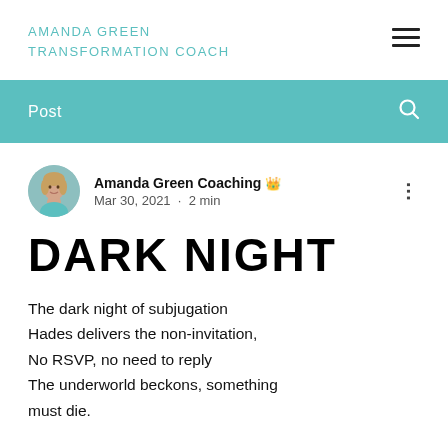AMANDA GREEN
TRANSFORMATION COACH
Post
Amanda Green Coaching 👑 Admin
Mar 30, 2021 · 2 min
DARK NIGHT
The dark night of subjugation
Hades delivers the non-invitation,
No RSVP, no need to reply
The underworld beckons, something must die.